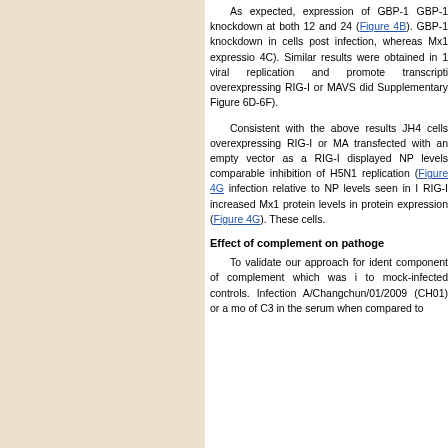As expected, expression of GBP-1 GBP-1 knockdown at both 12 and 24 (Figure 4B). GBP-1 knockdown in cells post infection, whereas Mx1 expressio 4C). Similar results were obtained in 1 viral replication and promote transcripti overexpressing RIG-I or MAVS did Supplementary Figure 6D-6F).
Consistent with the above results JH4 cells overexpressing RIG-I or MA transfected with an empty vector as a RIG-I displayed NP levels comparable inhibition of H5N1 replication (Figure 4G infection relative to NP levels seen in I RIG-I increased Mx1 protein levels in protein expression (Figure 4G). These cells.
Effect of complement on pathoge
To validate our approach for ident component of complement which was i to mock-infected controls. Infection A/Changchun/01/2009 (CH01) or a mo of C3 in the serum when compared to